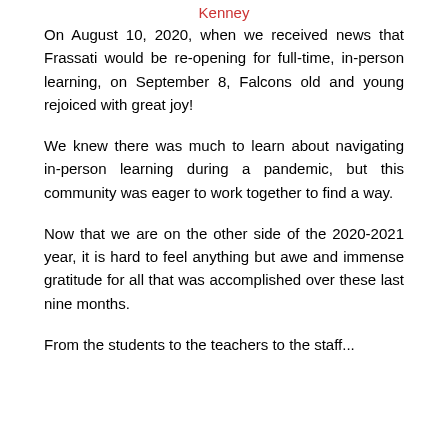Kenney
On August 10, 2020, when we received news that Frassati would be re-opening for full-time, in-person learning, on September 8, Falcons old and young rejoiced with great joy!
We knew there was much to learn about navigating in-person learning during a pandemic, but this community was eager to work together to find a way.
Now that we are on the other side of the 2020-2021 year, it is hard to feel anything but awe and immense gratitude for all that was accomplished over these last nine months.
From the students to the teachers to the staff...